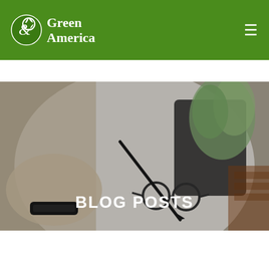Green America
Donate to protect People & Planet!
[Figure (photo): Top-down view of a person at a desk with a smartwatch, notebook, glasses, and a plant. Overlay text reads BLOG POSTS.]
515 Shares